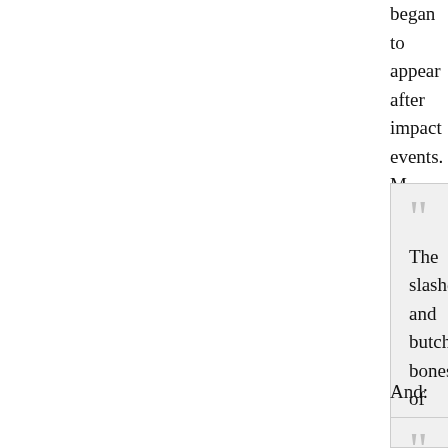began to appear after impact events. M... alterations in body size (either giants or... seem to have gone together.
The slashed and butchered bones of a... 43,000 years ago were excavated from... of Spain by a research team led by An...
The remains of four young adults, two... deliberate cut marks made by the cru... knives, skin scrapers and a single har...
There is also evidence that some of th... their leg joints were dismembered, an... to extract the fat and protein from the...
And: